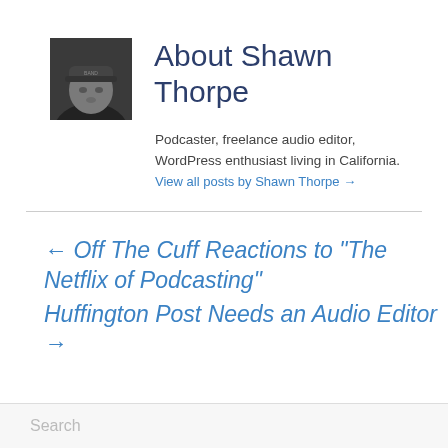[Figure (photo): Black and white headshot photo of Shawn Thorpe wearing a beanie hat]
About Shawn Thorpe
Podcaster, freelance audio editor, WordPress enthusiast living in California.  View all posts by Shawn Thorpe →
← Off The Cuff Reactions to “The Netflix of Podcasting”
Huffington Post Needs an Audio Editor →
Search